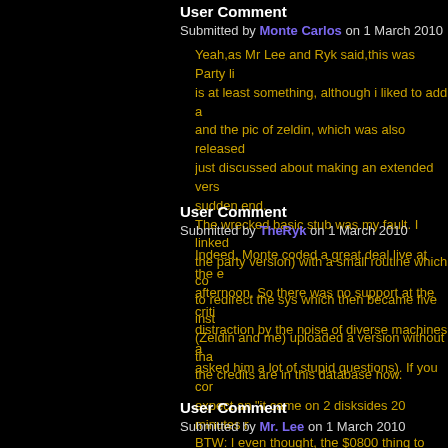User Comment
Submitted by Monte Carlos on 1 March 2010
Yeah,as Mr Lee and Ryk said,this was Party li... is at least something, although i liked to add a... and the pic of zeldin, which was also released... just discussed about making an extended vers... sudden end. The wrecked basic stub was my fault. I linked t... the party version) with a small routine which co... to redirect the sys which then became five inst... (Zeldin and me) uploaded a version without tha... the credits are in this database now.
User Comment
Submitted by TheRyk on 1 March 2010
Indeed, Monte coded a great deal live at the e... afternoon. So there was no support at the criti... distraction by the noise of diverse machines a... asked him a lot of stupid questions). If you cor... expect an "it came on 2 disksides 20 minutes r... BTW: I even thought, the $0800 thing to make... on purpose to force ppl to transfer it. ;) But obv... compatible .prg meanwhile. I like the result very much. Was a pleasure to r... since BCC actually isn't a demo group at all, it... you at BCC parties with a brandnew and inspi...
User Comment
Submitted by Mr. Lee on 1 March 2010